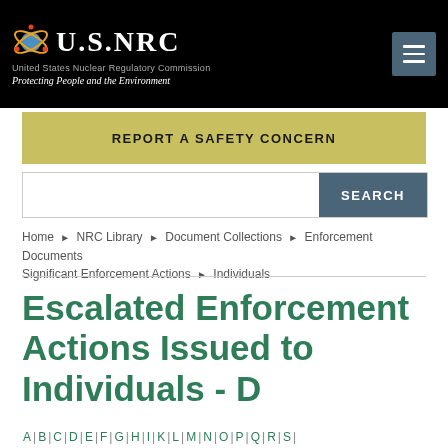U.S.NRC — United States Nuclear Regulatory Commission — Protecting People and the Environment
REPORT A SAFETY CONCERN
SEARCH
Home ▶ NRC Library ▶ Document Collections ▶ Enforcement Documents ▶ Significant Enforcement Actions ▶ Individuals
Escalated Enforcement Actions Issued to Individuals - D
A | B | C | D | E | F | G | H | I | K | L | M | N | O | P | Q | R | S |